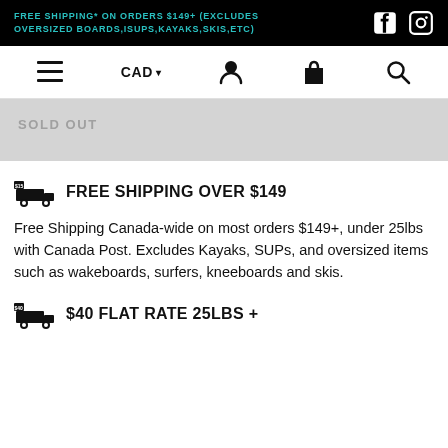FREE SHIPPING* ON ORDERS $149+ (EXCLUDES OVERSIZED BOARDS,ISUPS,KAYAKS,SKIS,ETC)
SOLD OUT
FREE SHIPPING OVER $149
Free Shipping Canada-wide on most orders $149+, under 25lbs with Canada Post. Excludes Kayaks, SUPs, and oversized items such as wakeboards, surfers, kneeboards and skis.
$40 FLAT RATE 25LBS +